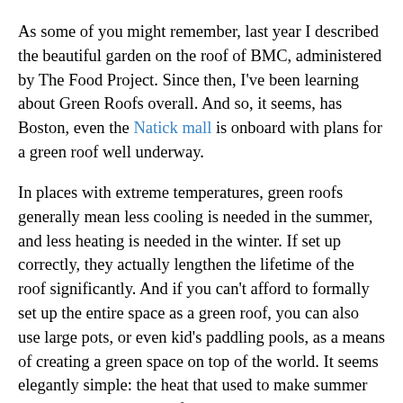As some of you might remember, last year I described the beautiful garden on the roof of BMC, administered by The Food Project. Since then, I've been learning about Green Roofs overall. And so, it seems, has Boston, even the Natick mall is onboard with plans for a green roof well underway.
In places with extreme temperatures, green roofs generally mean less cooling is needed in the summer, and less heating is needed in the winter. If set up correctly, they actually lengthen the lifetime of the roof significantly. And if you can't afford to formally set up the entire space as a green roof, you can also use large pots, or even kid's paddling pools, as a means of creating a green space on top of the world. It seems elegantly simple: the heat that used to make summer unbearable is now used for photosynthesis. It's essentially turned into heat that you can eat.
Wellesley grads/current students, have you ever ventured to the roof of the science center? I keep on thinking about that space and how it could be used for growth. Of course...